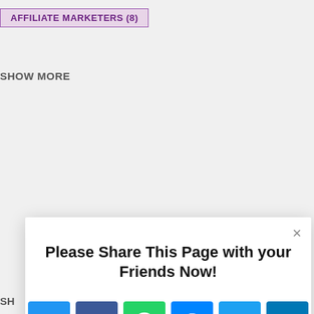AFFILIATE MARKETERS (8)
SHOW MORE
[Figure (screenshot): A modal dialog with close (×) button, title 'Please Share This Page with your Friends Now!', and two rows of social media share icons: row 1: link/copy, Facebook, WhatsApp, Messenger, Twitter, LinkedIn; row 2: Pinterest, Reddit, Tumblr, Blogger, Viber, plus(AddThis). Bottom right shows AddThis branding.]
SHOW MORE